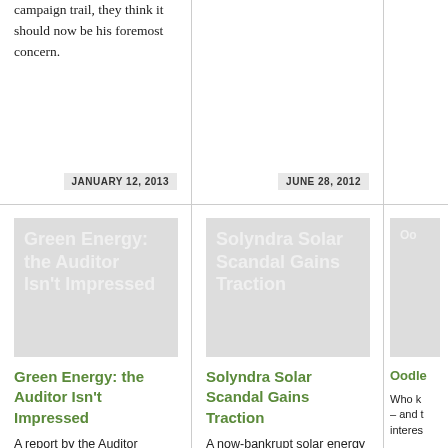campaign trail, they think it should now be his foremost concern.
JANUARY 12, 2013
JUNE 28, 2012
[Figure (illustration): Article thumbnail image with text: Green Energy: the Auditor Isn't Impressed]
Green Energy: the Auditor Isn't Impressed
A report by the Auditor General of a Canadian
[Figure (illustration): Article thumbnail image with text: Solyndra Solar Scandal Gains Traction]
Solyndra Solar Scandal Gains Traction
A now-bankrupt solar energy company flushed half a
[Figure (illustration): Partial article thumbnail image, text partially visible: Oo...]
Oodle
Who k – and t interes